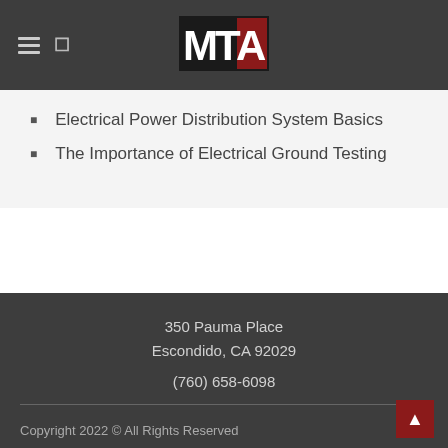[Figure (logo): MTA logo — black rectangle with white 'MT' letters and red triangle with white 'A' letter]
Electrical Power Distribution System Basics
The Importance of Electrical Ground Testing
350 Pauma Place
Escondido, CA 92029

(760) 658-6098

Copyright 2022 © All Rights Reserved